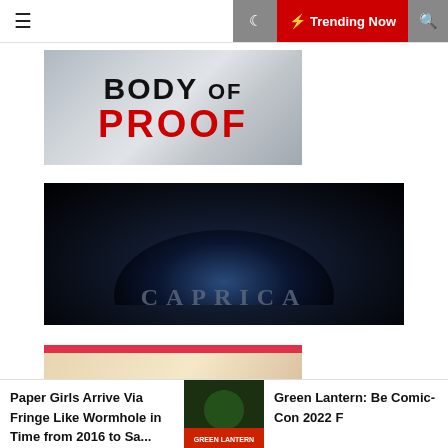≡  🌙  ⚡ Trending Now  🔍
[Figure (photo): Body of Proof TV show logo — black text 'BODY OF' and red text 'PROOF' on a grey/silver background]
[Figure (photo): Caprica TV show logo — dark space background with globe and 'CAPRICA' text in grey letters]
[Figure (photo): Nerd Herd mug/logo — white background with pink/red trim, text 'NERD HERD' with circle icon]
Paper Girls Arrive Via Fringe Like Wormhole in Time from 2016 to Sa...
[Figure (photo): Green Lantern thumbnail image]
Green Lantern: Be Comic-Con 2022 F